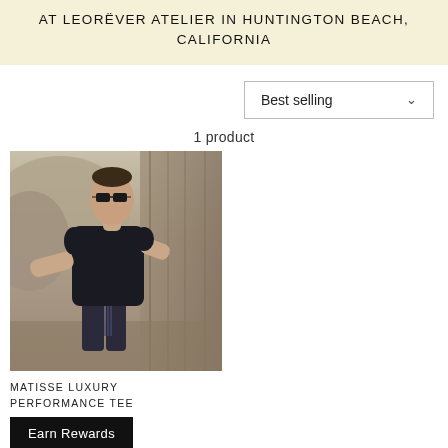AT LEORËVER ATELIER IN HUNTINGTON BEACH, CALIFORNIA
Best selling
1 product
[Figure (photo): Man wearing black t-shirt and dark shorts, posing outdoors against rocky/wooden background, wearing sunglasses]
MATISSE LUXURY PERFORMANCE TEE
Earn Rewards